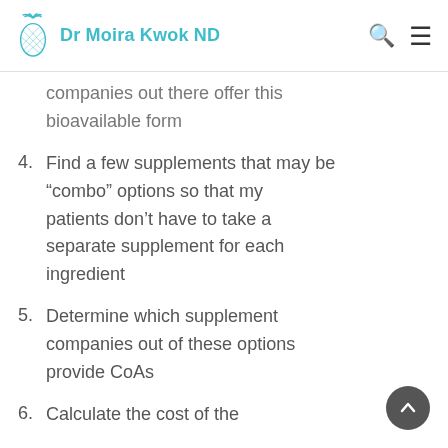Dr Moira Kwok ND
companies out there offer this bioavailable form
4. Find a few supplements that may be “combo” options so that my patients don’t have to take a separate supplement for each ingredient
5. Determine which supplement companies out of these options provide CoAs
6. Calculate the cost of the